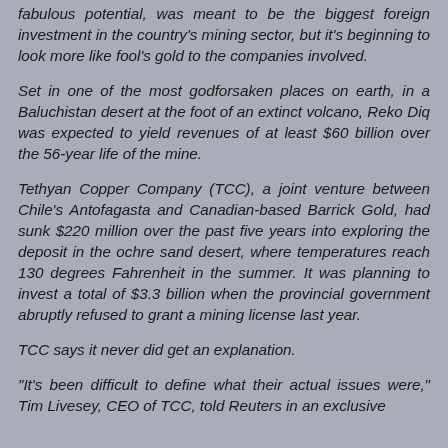fabulous potential, was meant to be the biggest foreign investment in the country's mining sector, but it's beginning to look more like fool's gold to the companies involved.
Set in one of the most godforsaken places on earth, in a Baluchistan desert at the foot of an extinct volcano, Reko Diq was expected to yield revenues of at least $60 billion over the 56-year life of the mine.
Tethyan Copper Company (TCC), a joint venture between Chile's Antofagasta and Canadian-based Barrick Gold, had sunk $220 million over the past five years into exploring the deposit in the ochre sand desert, where temperatures reach 130 degrees Fahrenheit in the summer. It was planning to invest a total of $3.3 billion when the provincial government abruptly refused to grant a mining license last year.
TCC says it never did get an explanation.
"It's been difficult to define what their actual issues were," Tim Livesey, CEO of TCC, told Reuters in an exclusive